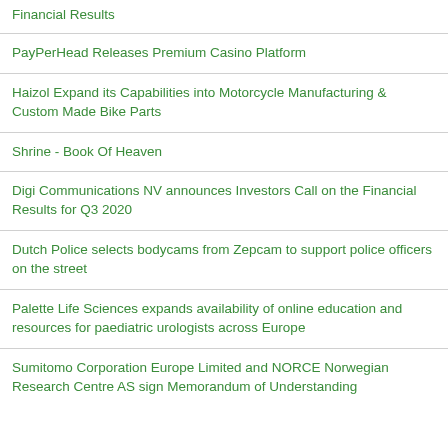Financial Results
PayPerHead Releases Premium Casino Platform
Haizol Expand its Capabilities into Motorcycle Manufacturing & Custom Made Bike Parts
Shrine - Book Of Heaven
Digi Communications NV announces Investors Call on the Financial Results for Q3 2020
Dutch Police selects bodycams from Zepcam to support police officers on the street
Palette Life Sciences expands availability of online education and resources for paediatric urologists across Europe
Sumitomo Corporation Europe Limited and NORCE Norwegian Research Centre AS sign Memorandum of Understanding